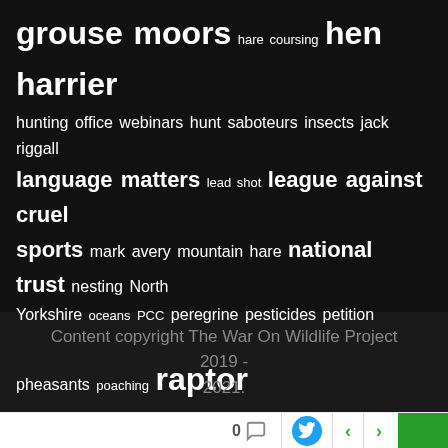[Figure (infographic): Tag cloud with wildlife and hunting related terms on dark background. Larger text: grouse moors, hen harrier, raptor persecution, shooting, wild justice, wildlife crime. Medium text: hunting office webinars, hunt saboteurs, insects, jack riggall, language matters, league against cruel sports, mark avery, mountain hare, national trust, nesting, North Yorkshire, oceans, PCC, peregrine, pesticides, petition, pheasants, poaching, scotland, snares, trail hunting, trophy hunting, wow short. Small text: hare coursing, lead shot.]
Content copyright The War On Wildlife Project 2019 - 2021.